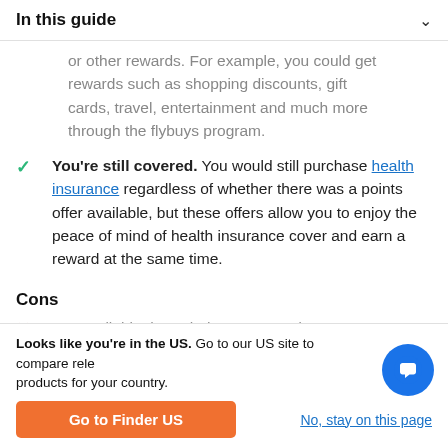In this guide
or other rewards. For example, you could get rewards such as shopping discounts, gift cards, travel, entertainment and much more through the flybuys program.
You're still covered. You would still purchase health insurance regardless of whether there was a points offer available, but these offers allow you to enjoy the peace of mind of health insurance cover and earn a reward at the same time.
Cons
Not available through the same product...
Looks like you're in the US. Go to our US site to compare rele products for your country.
Go to Finder US
No, stay on this page